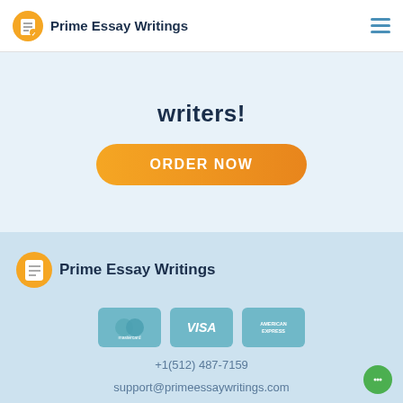Prime Essay Writings
writers!
[Figure (other): Orange gradient ORDER NOW button]
[Figure (logo): Prime Essay Writings footer logo with icon]
[Figure (other): Payment icons: Mastercard, Visa, American Express]
+1(512) 487-7159
support@primeessaywritings.com
2022 © Prime Essay Writings All rights reserved